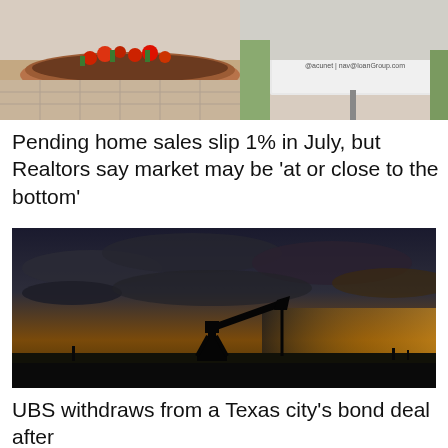[Figure (photo): Photo of a residential property with red flowers in a brick garden bed and a real estate sign showing 'MARK MACHADO | FOUNDER 415-298-7027']
Pending home sales slip 1% in July, but Realtors say market may be 'at or close to the bottom'
[Figure (photo): Silhouette of an oil pump jack against a dramatic sunset sky with orange and dark clouds]
UBS withdraws from a Texas city's bond deal after